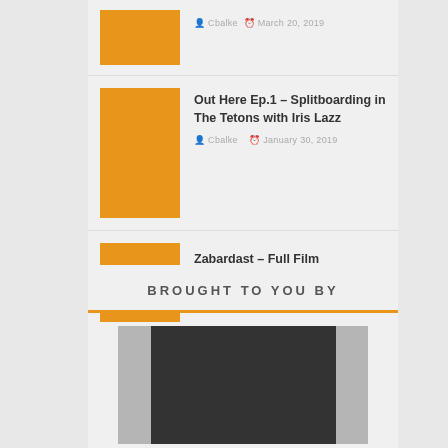Out Here Ep.1 – Splitboarding in The Tetons with Iris Lazz
Cbalke  January 30, 2019
Zabardast – Full Film
Cbalke  January 15, 2019
BROUGHT TO YOU BY
[Figure (other): Sponsor advertisement image placeholder with dark background]